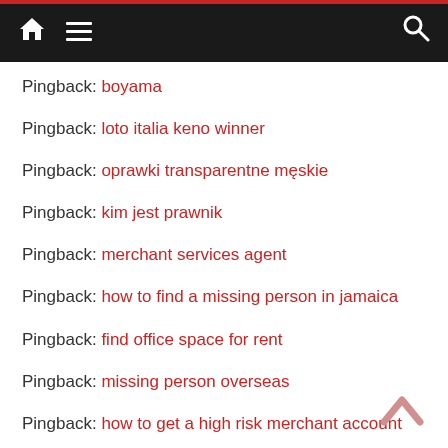Navigation bar with home, menu, and search icons
Pingback: boyama
Pingback: loto italia keno winner
Pingback: oprawki transparentne męskie
Pingback: kim jest prawnik
Pingback: merchant services agent
Pingback: how to find a missing person in jamaica
Pingback: find office space for rent
Pingback: missing person overseas
Pingback: how to get a high risk merchant account
Pingback: nieważność małżeństwa